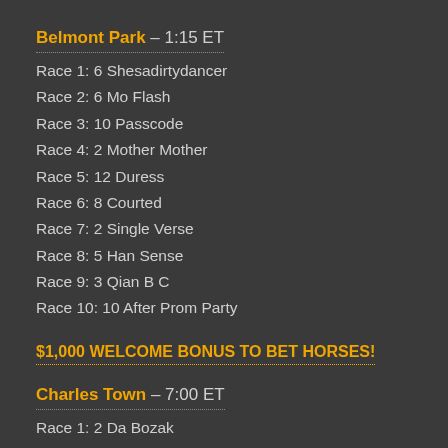Belmont Park – 1:15 ET
Race 1: 6 Shesadirtydancer
Race 2: 6 Mo Flash
Race 3: 10 Passcode
Race 4: 2 Mother Mother
Race 5: 12 Duress
Race 6: 8 Courted
Race 7: 2 Single Verse
Race 8: 5 Han Sense
Race 9: 3 Qian B C
Race 10: 10 After Prom Party
$1,000 WELCOME BONUS TO BET HORSES!
Charles Town – 7:00 ET
Race 1: 2 Da Bozak